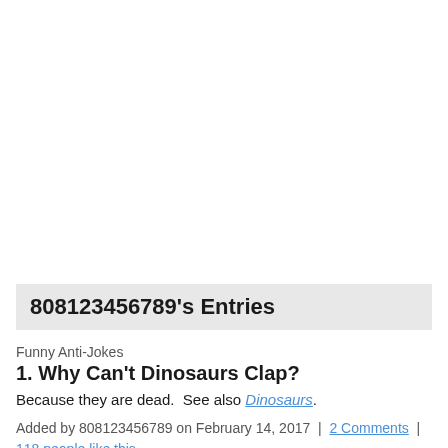808123456789's Entries
Funny Anti-Jokes
1. Why Can't Dinosaurs Clap?
Because they are dead.  See also Dinosaurs.
Added by 808123456789 on February 14, 2017  |  2 Comments  |  118 people like this